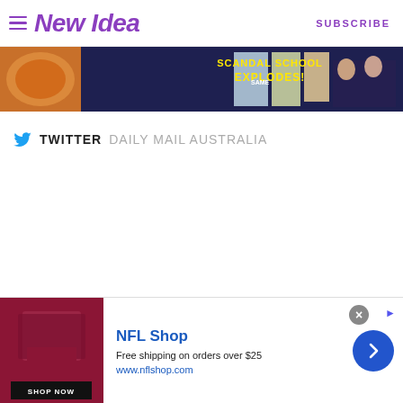New Idea | SUBSCRIBE
[Figure (photo): Banner advertisement showing food imagery and magazine covers with text 'SCANDAL SCHOOL EXPLODES!']
TWITTER  DAILY MAIL AUSTRALIA
[Figure (infographic): NFL Shop advertisement: Free shipping on orders over $25, www.nflshop.com, Shop Now button]